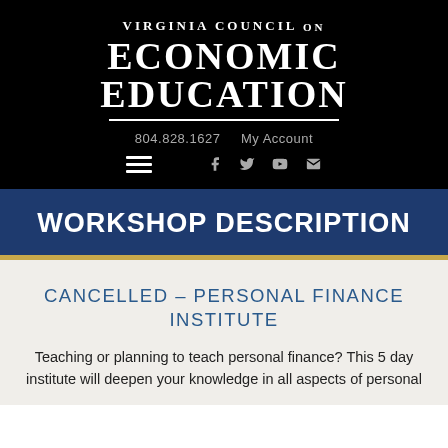VIRGINIA COUNCIL ON ECONOMIC EDUCATION
804.828.1627   My Account
WORKSHOP DESCRIPTION
CANCELLED – PERSONAL FINANCE INSTITUTE
Teaching or planning to teach personal finance? This 5 day institute will deepen your knowledge in all aspects of personal